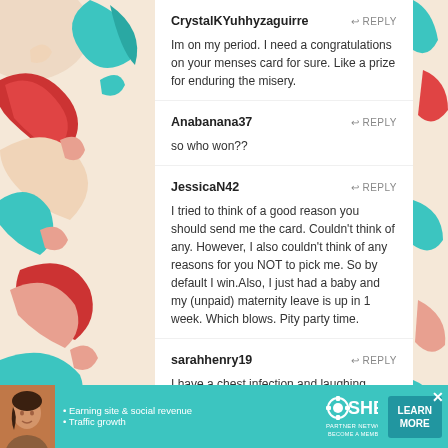[Figure (illustration): Decorative floral/swirl pattern in red, teal, and cream on the left side of the page]
CrystalKYuhhyzaguirre
↩ REPLY
Im on my period. I need a congratulations on your menses card for sure. Like a prize for enduring the misery.
Anabanana37
↩ REPLY
so who won??
JessicaN42
↩ REPLY
I tried to think of a good reason you should send me the card. Couldn't think of any. However, I also couldn't think of any reasons for you NOT to pick me. So by default I win.Also, I just had a baby and my (unpaid) maternity leave is up in 1 week. Which blows. Pity party time.
sarahhenry19
↩ REPLY
I have a chest infection and laughing makes me cough.
[Figure (infographic): SHE Partner Network advertisement banner with teal background, woman photo, bullet points about earning site & social revenue and traffic growth, SHE logo, and LEARN MORE button]